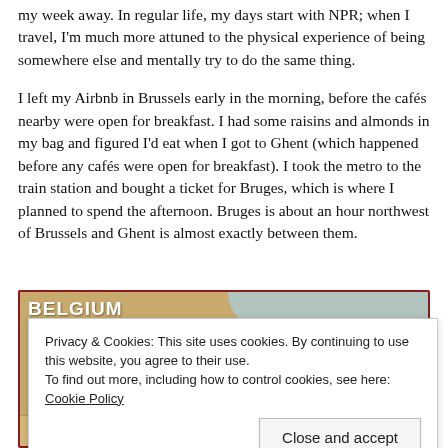my week away. In regular life, my days start with NPR; when I travel, I'm much more attuned to the physical experience of being somewhere else and mentally try to do the same thing.
I left my Airbnb in Brussels early in the morning, before the cafés nearby were open for breakfast. I had some raisins and almonds in my bag and figured I'd eat when I got to Ghent (which happened before any cafés were open for breakfast). I took the metro to the train station and bought a ticket for Bruges, which is where I planned to spend the afternoon. Bruges is about an hour northwest of Brussels and Ghent is almost exactly between them.
[Figure (map): Map of Belgium with dark red border, beige/tan background, water area in top right, and city markers at bottom including Ath and Liège visible.]
Privacy & Cookies: This site uses cookies. By continuing to use this website, you agree to their use.
To find out more, including how to control cookies, see here: Cookie Policy
Close and accept